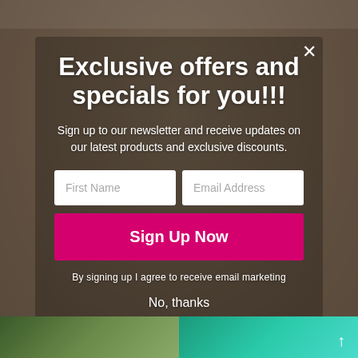[Figure (screenshot): E-commerce website popup modal overlay on a background showing wooden puzzle key figurines. The modal contains a newsletter signup form with title, subtitle, input fields for First Name and Email Address, a pink Sign Up Now button, legal disclaimer text, and a No thanks link. Background shows a wooden toy/craft products website with partially visible navigation bar and product thumbnails at the bottom.]
Exclusive offers and specials for you!!!
Sign up to our newsletter and receive updates on our latest products and exclusive discounts.
First Name
Email Address
Sign Up Now
By signing up I agree to receive email marketing
No, thanks